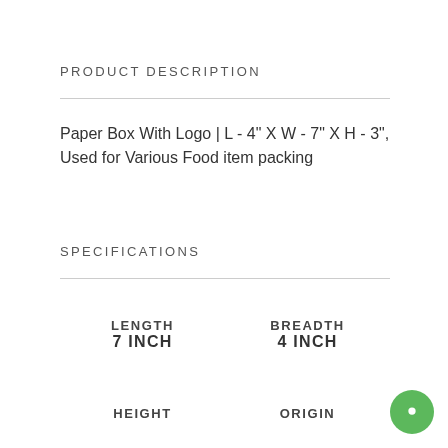PRODUCT DESCRIPTION
Paper Box With Logo | L - 4" X W - 7" X H - 3", Used for Various Food item packing
SPECIFICATIONS
| LENGTH | BREADTH |
| --- | --- |
| 7 INCH | 4 INCH |
| HEIGHT | ORIGIN |
| --- | --- |
|  |